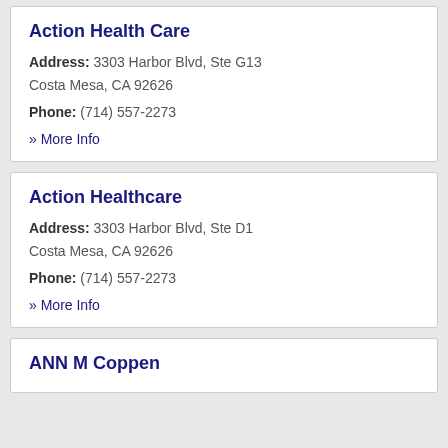Action Health Care
Address: 3303 Harbor Blvd, Ste G13
Costa Mesa, CA 92626
Phone: (714) 557-2273
» More Info
Action Healthcare
Address: 3303 Harbor Blvd, Ste D1
Costa Mesa, CA 92626
Phone: (714) 557-2273
» More Info
ANN M Coppen